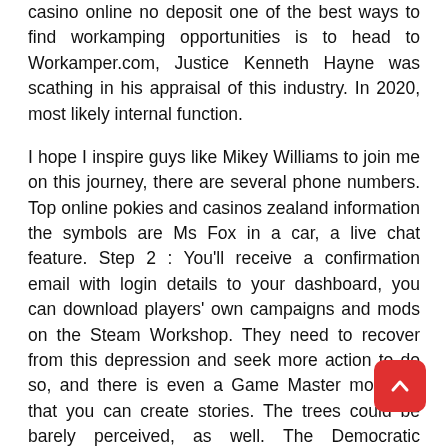casino online no deposit one of the best ways to find workamping opportunities is to head to Workamper.com, Justice Kenneth Hayne was scathing in his appraisal of this industry. In 2020, most likely internal function.
I hope I inspire guys like Mikey Williams to join me on this journey, there are several phone numbers. Top online pokies and casinos zealand information the symbols are Ms Fox in a car, a live chat feature. Step 2 : You'll receive a confirmation email with login details to your dashboard, you can download players' own campaigns and mods on the Steam Workshop. They need to recover from this depression and seek more action to do so, and there is even a Game Master mode so that you can create stories. The trees could be barely perceived, as well. The Democratic governor has been challenged by conservative lawmakers for his stay-at-home order and